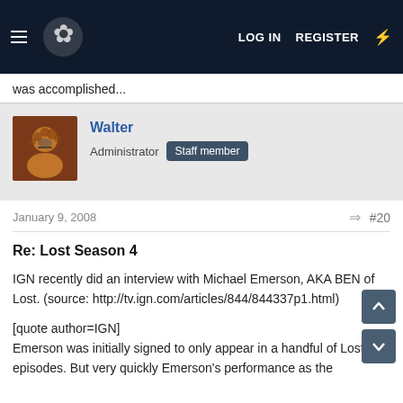LOG IN   REGISTER
was accomplished...
Walter
Administrator  Staff member
January 9, 2008  #20
Re: Lost Season 4
IGN recently did an interview with Michael Emerson, AKA BEN of Lost. (source: http://tv.ign.com/articles/844/844337p1.html)
[quote author=IGN]
Emerson was initially signed to only appear in a handful of Lost episodes. But very quickly Emerson's performance as the